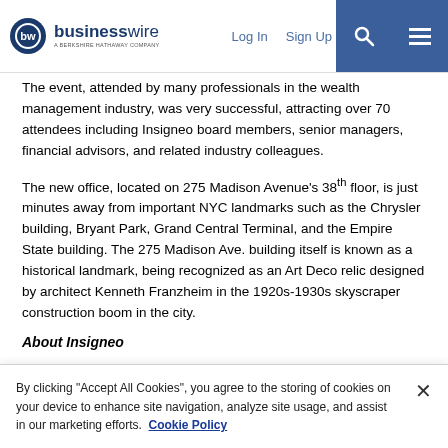businesswire — A Berkshire Hathaway Company | Log In | Sign Up
The event, attended by many professionals in the wealth management industry, was very successful, attracting over 70 attendees including Insigneo board members, senior managers, financial advisors, and related industry colleagues.
The new office, located on 275 Madison Avenue's 38th floor, is just minutes away from important NYC landmarks such as the Chrysler building, Bryant Park, Grand Central Terminal, and the Empire State building. The 275 Madison Ave. building itself is known as a historical landmark, being recognized as an Art Deco relic designed by architect Kenneth Franzheim in the 1920s-1930s skyscraper construction boom in the city.
About Insigneo
By clicking “Accept All Cookies”, you agree to the storing of cookies on your device to enhance site navigation, analyze site usage, and assist in our marketing efforts. Cookie Policy